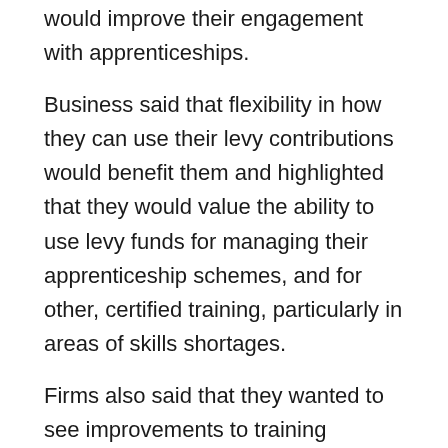would improve their engagement with apprenticeships.
Business said that flexibility in how they can use their levy contributions would benefit them and highlighted that they would value the ability to use levy funds for managing their apprenticeship schemes, and for other, certified training, particularly in areas of skills shortages.
Firms also said that they wanted to see improvements to training provision and an increase in open access courses.
Notes to Editors
To read the full report into how London's Financial and Professional Services (FPS) firms are using apprenticeships click here.